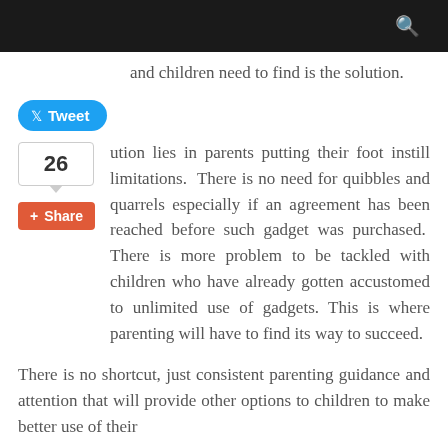and children need to find is the solution.
Tweet
26
ution lies in parents putting their foot instill limitations.  There is no need for quibbles and quarrels especially if an agreement has been reached before such gadget was purchased.  There is more problem to be tackled with children who have already gotten accustomed to unlimited use of gadgets. This is where parenting will have to find its way to succeed.
Share
There is no shortcut, just consistent parenting guidance and attention that will provide other options to children to make better use of their